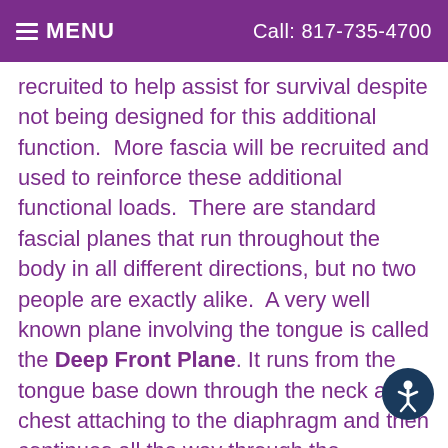≡ MENU   Call: 817-735-4700
recruited to help assist for survival despite not being designed for this additional function.  More fascia will be recruited and used to reinforce these additional functional loads.  There are standard fascial planes that run throughout the body in all different directions, but no two people are exactly alike.  A very well known plane involving the tongue is called the Deep Front Plane. It runs from the tongue base down through the neck and chest attaching to the diaphragm and then continues all the way through the abdomen and legs to the toes.  When a tongue tie is released, it would therefore